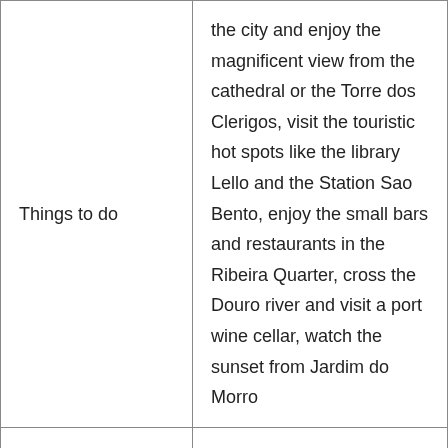| Things to do | the city and enjoy the magnificent view from the cathedral or the Torre dos Clerigos, visit the touristic hot spots like the library Lello and the Station Sao Bento, enjoy the small bars and restaurants in the Ribeira Quarter, cross the Douro river and visit a port wine cellar, watch the sunset from Jardim do Morro |
| Recommendations in a nutshell | Discover the city highlights with a walking tour

If you've got more time: rent a car and ride along the Douro |